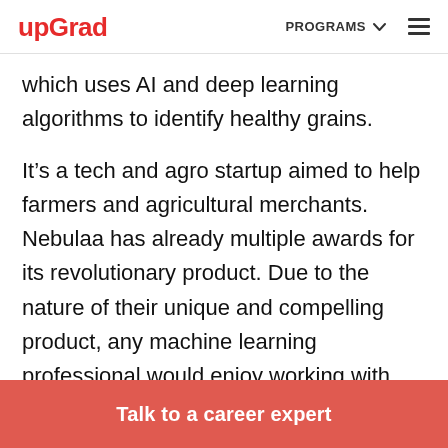upGrad | PROGRAMS
which uses AI and deep learning algorithms to identify healthy grains.
It’s a tech and agro startup aimed to help farmers and agricultural merchants. Nebulaa has already multiple awards for its revolutionary product. Due to the nature of their unique and compelling product, any machine learning professional would enjoy working with the team.
Talk to a career expert